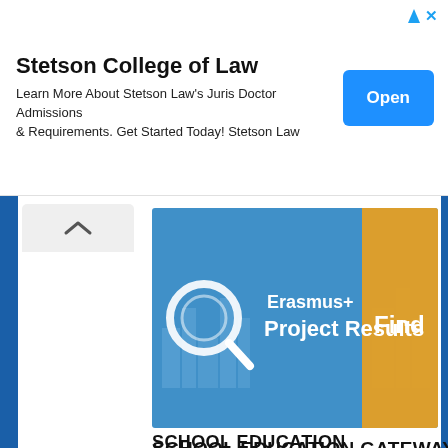Stetson College of Law
Learn More About Stetson Law's Juris Doctor Admissions & Requirements. Get Started Today! Stetson Law
[Figure (screenshot): Blue Open button for Stetson College of Law ad]
[Figure (screenshot): Erasmus+ Project Results Find banner with blue background and yellow triangle]
SCHOOL EDUCATION GATEWAY
[Figure (logo): SchoolEducationGateway logo on dark navy background, with 'Education' in orange]